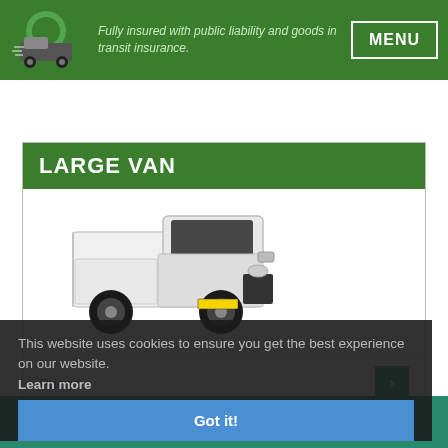Fully insured with public liability and goods in transit insurance.
LARGE VAN
[Figure (photo): White large van (Ford Transit style) viewed from front-left angle on white background]
This website uses cookies to ensure you get the best experience on our website.
Learn more
Prices
Dimensions
Got it!
GET A FREE QUOTE ONLINE